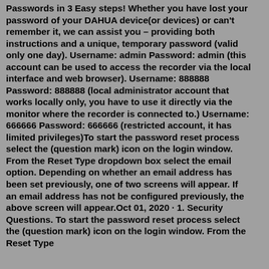Passwords in 3 Easy steps! Whether you have lost your password of your DAHUA device(or devices) or can't remember it, we can assist you – providing both instructions and a unique, temporary password (valid only one day). Username: admin Password: admin (this account can be used to access the recorder via the local interface and web browser). Username: 888888 Password: 888888 (local administrator account that works locally only, you have to use it directly via the monitor where the recorder is connected to.) Username: 666666 Password: 666666 (restricted account, it has limited privileges)To start the password reset process select the (question mark) icon on the login window. From the Reset Type dropdown box select the email option. Depending on whether an email address has been set previously, one of two screens will appear. If an email address has not be configured previously, the above screen will appear.Oct 01, 2020 · 1. Security Questions. To start the password reset process select the (question mark) icon on the login window. From the Reset Type